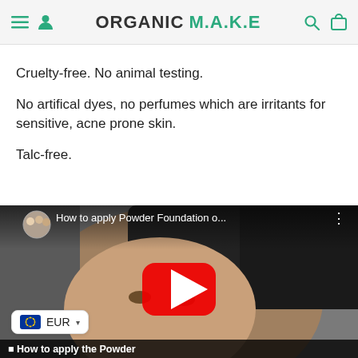ORGANIC M.A.K.E
Cruelty-free. No animal testing.
No artifical dyes, no perfumes which are irritants for sensitive, acne prone skin.
Talc-free.
[Figure (screenshot): YouTube video embed thumbnail showing a person applying powder foundation with a brush. Video title reads 'How to apply Powder Foundation o...' with a YouTube play button overlay. Bottom caption reads 'How to apply the Powder'. EUR currency selector widget visible at bottom-left.]